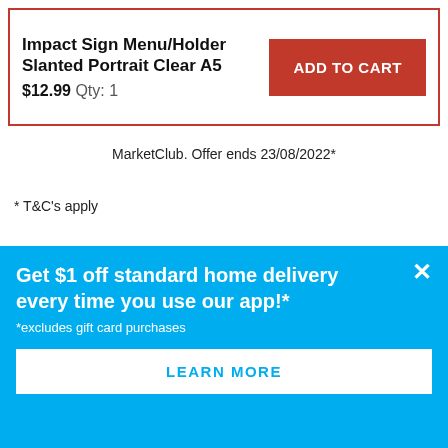Impact Sign Menu/Holder Slanted Portrait Clear A5
$12.99  Qty: 1
ADD TO CART
MarketClub. Offer ends 23/08/2022*
* T&C's apply
Delivery and returns
Details
Click & Collect
Get $1 off standard home delivery every time you use our app!*
*excludes gift card purchases
LEARN MORE